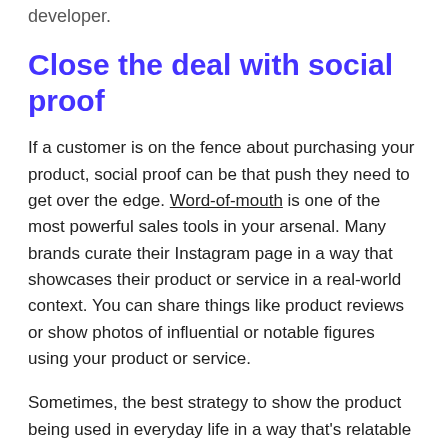developer.
Close the deal with social proof
If a customer is on the fence about purchasing your product, social proof can be that push they need to get over the edge. Word-of-mouth is one of the most powerful sales tools in your arsenal. Many brands curate their Instagram page in a way that showcases their product or service in a real-world context. You can share things like product reviews or show photos of influential or notable figures using your product or service.
Sometimes, the best strategy to show the product being used in everyday life in a way that's relatable to your audience.